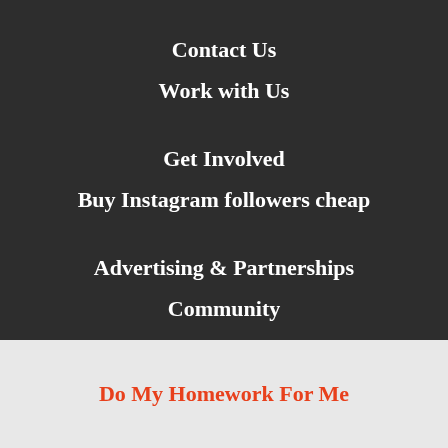Contact Us
Work with Us
Get Involved
Buy Instagram followers cheap
Advertising & Partnerships
Community
Do My Homework For Me